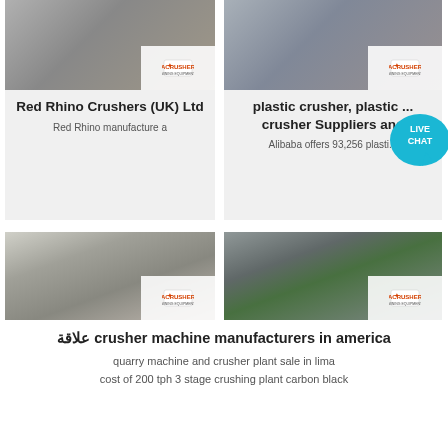[Figure (photo): Red Rhino Crushers photo with ACRUSHER mining equipment logo]
Red Rhino Crushers (UK) Ltd
Red Rhino manufacture a
[Figure (photo): Plastic crusher photo with ACRUSHER mining equipment logo and Live Chat bubble]
plastic crusher, plastic ... crusher Suppliers and
Alibaba offers 93,256 plasti...
[Figure (photo): Crusher machine in building with ACRUSHER mining equipment logo]
crusher machines manufacturers in america
[Figure (photo): Green Crusher Machine on truck in warehouse with ACRUSHER mining equipment logo]
Crusher Machine Manufacturers In America
علاقة crusher machine manufacturers in america
quarry machine and crusher plant sale in lima
cost of 200 tph 3 stage crushing plant carbon black